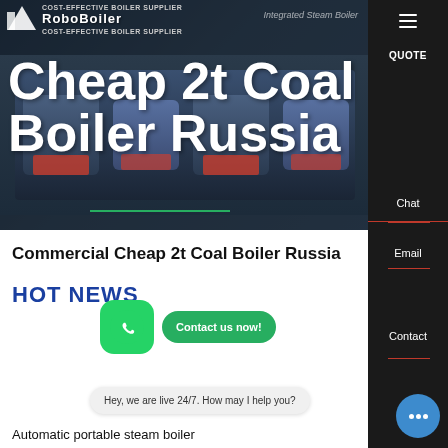[Figure (screenshot): Website hero banner for RoboBoiler showing industrial coal boilers with dark blue background]
COST-EFFECTIVE BOILER SUPPLIER | Integrated Steam Boiler
Cheap 2t Coal Boiler Russia
Commercial Cheap 2t Coal Boiler Russia
HOT NEWS
Hey, we are live 24/7. How may I help you?
Automatic portable steam boiler
Chat
Email
Contact
QUOTE
Contact us now!